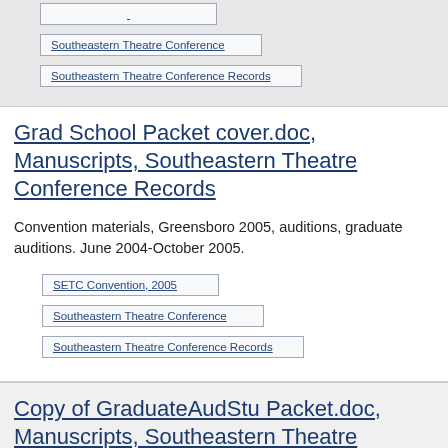Southeastern Theatre Conference
Southeastern Theatre Conference Records
Grad School Packet cover.doc, Manuscripts, Southeastern Theatre Conference Records
Convention materials, Greensboro 2005, auditions, graduate auditions. June 2004-October 2005.
SETC Convention, 2005
Southeastern Theatre Conference
Southeastern Theatre Conference Records
Copy of GraduateAudStu Packet.doc, Manuscripts, Southeastern Theatre Conference Records